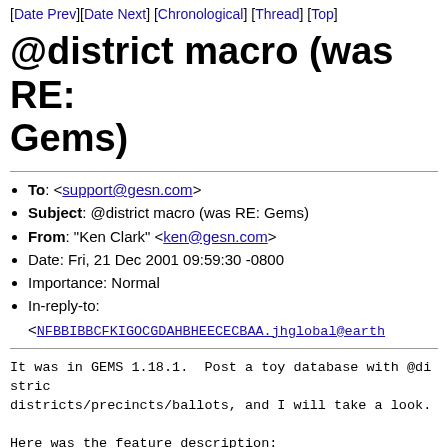[Date Prev][Date Next] [Chronological] [Thread] [Top]
@district macro (was RE: Gems)
To: <support@gesn.com>
Subject: @district macro (was RE: Gems)
From: "Ken Clark" <ken@gesn.com>
Date: Fri, 21 Dec 2001 09:59:30 -0800
Importance: Normal
In-reply-to: <NFBBIBBCFKIGOCGDAHBHEECECBAA.jhglobal@earth
It was in GEMS 1.18.1.  Post a toy database with @distric
districts/precincts/ballots, and I will take a look.

Here was the feature description:
http://staff.gesn.com/lists/support.w3archive/200107/msg0
Ken